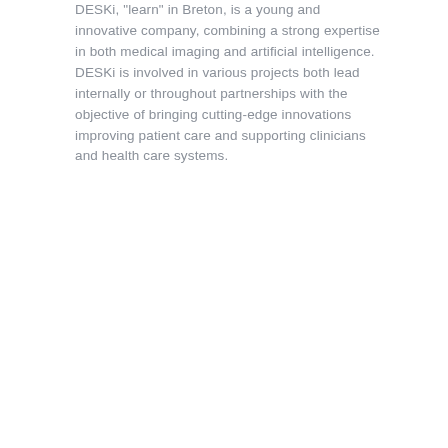DESKi, "learn" in Breton, is a young and innovative company, combining a strong expertise in both medical imaging and artificial intelligence. DESKi is involved in various projects both lead internally or throughout partnerships with the objective of bringing cutting-edge innovations improving patient care and supporting clinicians and health care systems.